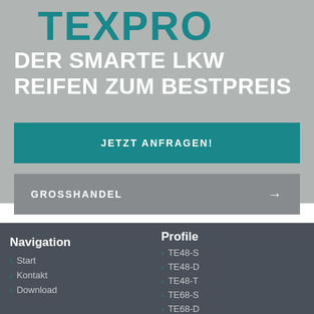[Figure (logo): TEXPRO logo in teal/cyan angular text on gray background]
DER SMARTE LKW REIFEN ZUM BESTPREIS
JETZT ANFRAGEN!
GROSSHANDEL →
Navigation
Start
Kontakt
Download
Profile
TE48-S
TE48-D
TE48-T
TE68-S
TE68-D